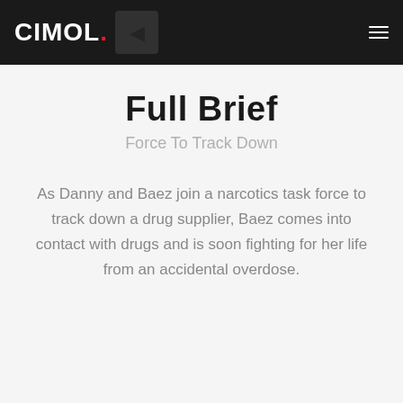CIMOL.
Full Brief
Force To Track Down
As Danny and Baez join a narcotics task force to track down a drug supplier, Baez comes into contact with drugs and is soon fighting for her life from an accidental overdose.